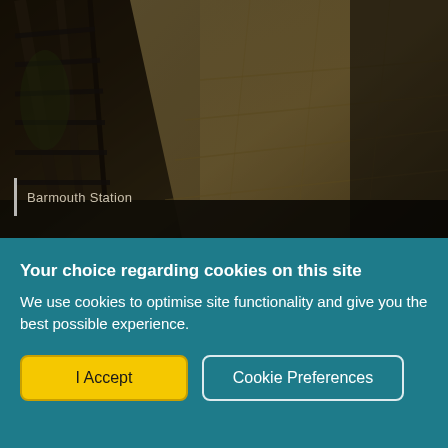[Figure (photo): Photograph of Barmouth Station platform with railway tracks and stone paving, taken at an angle, dark moody tones]
Barmouth Station
How to explore the Wales Coast Path using public transport
Guidebook writer Vivienne Crow discovers that good bus and train services become part of the
Your choice regarding cookies on this site
We use cookies to optimise site functionality and give you the best possible experience.
I Accept
Cookie Preferences